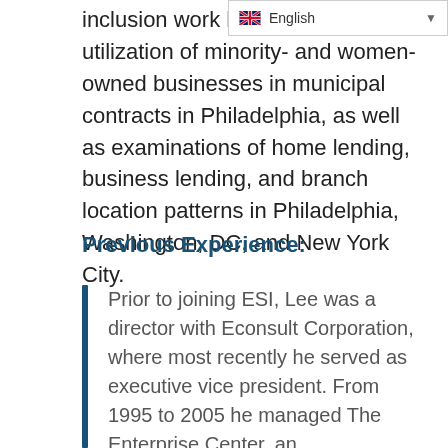inclusion work has included utilization of minority- and women-owned businesses in municipal contracts in Philadelphia, as well as examinations of home lending, business lending, and branch location patterns in Philadelphia, Washington, DC, and New York City.
Previous Experience:
Prior to joining ESI, Lee was a director with Econsult Corporation, where most recently he served as executive vice president. From 1995 to 2005 he managed The Enterprise Center, an entrepreneurial center in West Philadelphia, where he acquired extensive experience in day-to-day management as well as strategic decision making. He was also founder of The Enterprise Center's YES